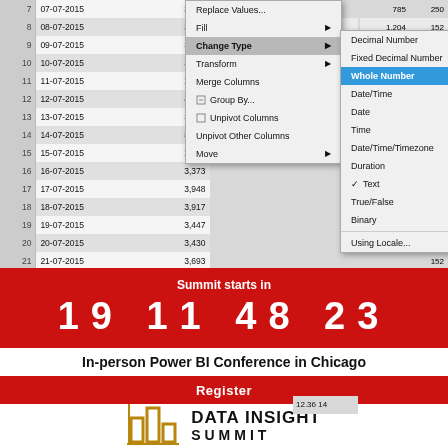[Figure (screenshot): Power BI Query Editor screenshot showing a data table with dates and values, a context menu open with 'Change Type' highlighted, and a submenu showing data type options with 'Whole Number' highlighted in blue.]
Summit starts in
19  11  48  23
In-person Power BI Conference in Chicago
Register
[Figure (logo): Data Insight Summit logo with golden bar chart icon and text 'DATA INSIGHT SUMMIT']